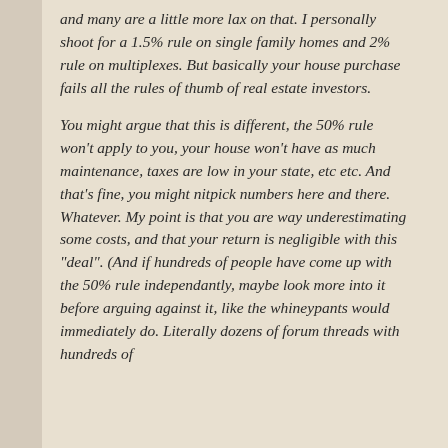and many are a little more lax on that. I personally shoot for a 1.5% rule on single family homes and 2% rule on multiplexes. But basically your house purchase fails all the rules of thumb of real estate investors.
You might argue that this is different, the 50% rule won't apply to you, your house won't have as much maintenance, taxes are low in your state, etc etc. And that's fine, you might nitpick numbers here and there. Whatever. My point is that you are way underestimating some costs, and that your return is negligible with this "deal". (And if hundreds of people have come up with the 50% rule independantly, maybe look more into it before arguing against it, like the whineypants would immediately do. Literally dozens of forum threads with hundreds of